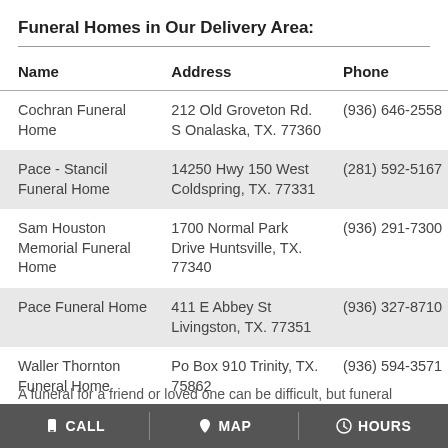Funeral Homes in Our Delivery Area:
| Name | Address | Phone |
| --- | --- | --- |
| Cochran Funeral Home | 212 Old Groveton Rd. S Onalaska, TX. 77360 | (936) 646-2558 |
| Pace - Stancil Funeral Home | 14250 Hwy 150 West Coldspring, TX. 77331 | (281) 592-5167 |
| Sam Houston Memorial Funeral Home | 1700 Normal Park Drive Huntsville, TX. 77340 | (936) 291-7300 |
| Pace Funeral Home | 411 E Abbey St Livingston, TX. 77351 | (936) 327-8710 |
| Waller Thornton Funeral Home | Po Box 910 Trinity, TX. 75862 | (936) 594-3571 |
A funeral for a friend or loved one can be difficult, but funeral
CALL   MAP   HOURS